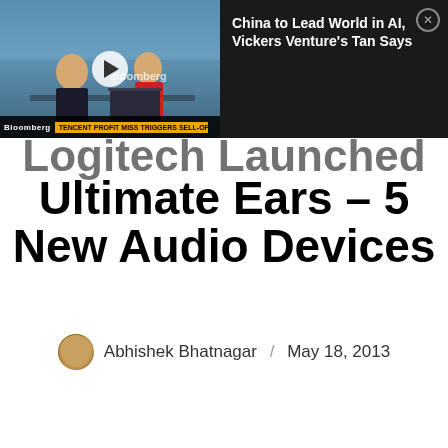[Figure (screenshot): Bloomberg TV video thumbnail showing two people in a studio with a play button overlay, and a sidebar with dark background showing article title 'China to Lead World in AI, Vickers Venture's Tan Says' with a close button]
Logitech Launched Ultimate Ears – 5 New Audio Devices
Abhishek Bhatnagar / May 18, 2013